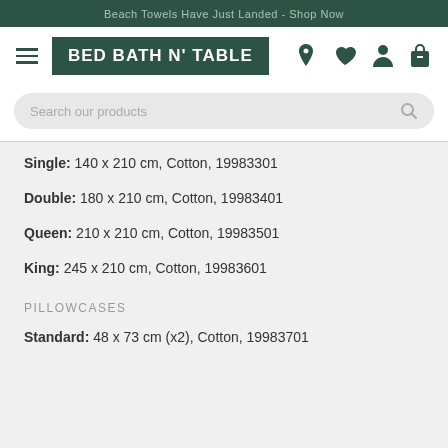Beach Towels Have Just Landed - Shop Now
[Figure (logo): Bed Bath N' Table logo with navigation icons (location pin, heart, person, shopping bag) and hamburger menu]
[Figure (screenshot): Search bar with placeholder text 'Search our products']
Single: 140 x 210 cm, Cotton, 19983301
Double: 180 x 210 cm, Cotton, 19983401
Queen: 210 x 210 cm, Cotton, 19983501
King: 245 x 210 cm, Cotton, 19983601
PILLOWCASES
Standard: 48 x 73 cm (x2), Cotton, 19983701